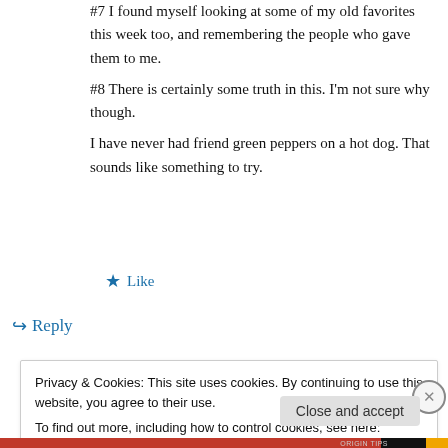#7 I found myself looking at some of my old favorites this week too, and remembering the people who gave them to me.
#8 There is certainly some truth in this. I'm not sure why though.
I have never had friend green peppers on a hot dog. That sounds like something to try.
★ Like
↪ Reply
Privacy & Cookies: This site uses cookies. By continuing to use this website, you agree to their use.
To find out more, including how to control cookies, see here: Cookie Policy
Close and accept